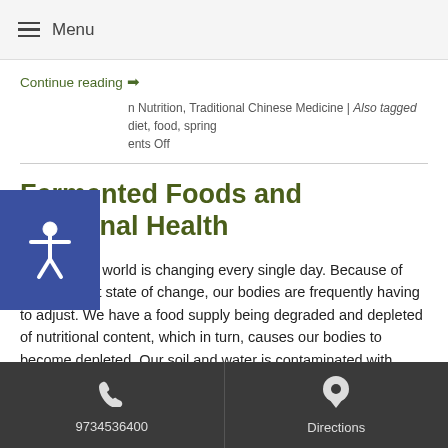Menu
Continue reading →
n Nutrition, Traditional Chinese Medicine | Also tagged diet, food, spring ents Off
Fermented Foods and Intestinal Health
The modern world is changing every single day. Because of this constant state of change, our bodies are frequently having to adjust. We have a food supply being degraded and depleted of nutritional content, which in turn, causes our bodies to become depleted. Our soil and water is contaminated with antibiotics and deadly fertilizers. All of which become part of
Continue reading →
9734536400   Directions